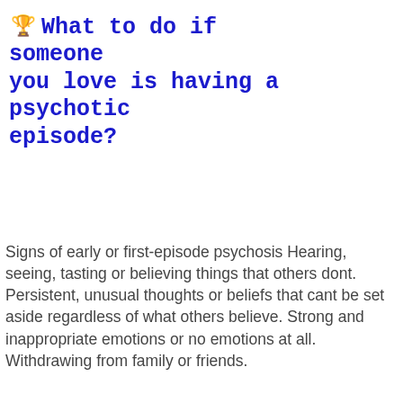🏆 What to do if someone you love is having a psychotic episode?
Signs of early or first-episode psychosis Hearing, seeing, tasting or believing things that others dont. Persistent, unusual thoughts or beliefs that cant be set aside regardless of what others believe. Strong and inappropriate emotions or no emotions at all. Withdrawing from family or friends.
[Figure (photo): Dark/black horizontal bar image spanning the full width]
This website uses cookies to improve your experience. We'll assume you're ok with this, but you can opt-out if you wish.
Accept   Read More